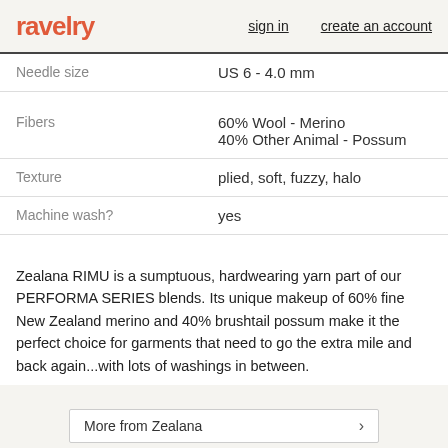ravelry  sign in  create an account
| Needle size | US 6 - 4.0 mm |
| Fibers | 60% Wool - Merino
40% Other Animal - Possum |
| Texture | plied, soft, fuzzy, halo |
| Machine wash? | yes |
Zealana RIMU is a sumptuous, hardwearing yarn part of our PERFORMA SERIES blends. Its unique makeup of 60% fine New Zealand merino and 40% brushtail possum make it the perfect choice for garments that need to go the extra mile and back again...with lots of washings in between.
More from Zealana